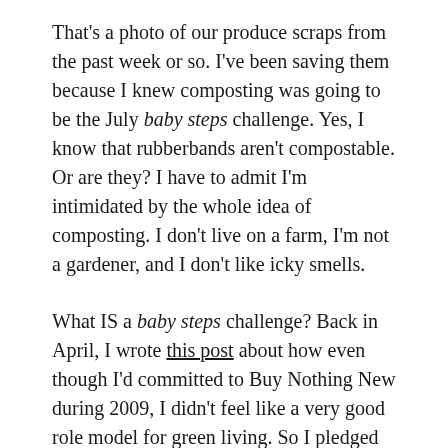That's a photo of our produce scraps from the past week or so. I've been saving them because I knew composting was going to be the July baby steps challenge. Yes, I know that rubberbands aren't compostable. Or are they? I have to admit I'm intimidated by the whole idea of composting. I don't live on a farm, I'm not a gardener, and I don't like icky smells.
What IS a baby steps challenge? Back in April, I wrote this post about how even though I'd committed to Buy Nothing New during 2009, I didn't feel like a very good role model for green living. So I pledged to Go Green, and gave myself a list of goals, like switching to homemade cleansers and doing better about other things. could be